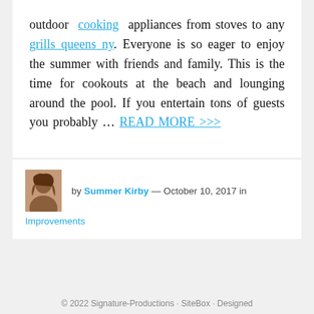outdoor cooking appliances from stoves to any grills queens ny. Everyone is so eager to enjoy the summer with friends and family. This is the time for cookouts at the beach and lounging around the pool. If you entertain tons of guests you probably … READ MORE >>>
by Summer Kirby — October 10, 2017 in Improvements
© 2022 Signature-Productions · SiteBox · Designed